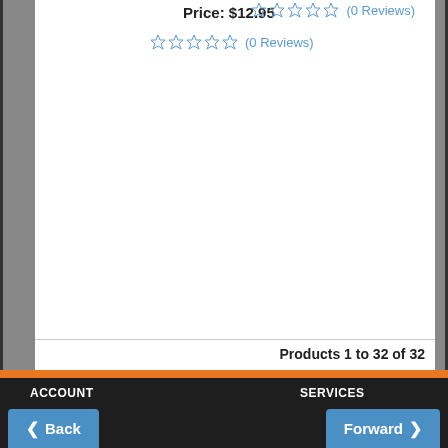Price: $12.95
☆☆☆☆☆ (0 Reviews)
☆☆☆☆☆ (0 Reviews)
Products 1 to 32 of 32
ACCOUNT
Sign In
Register
Cart
Update Account
Make A Payment
My Orders
Gift Card Balance
Music Educators' Site
SERVICES
New Products
Rentals
Lessons
Repairs
Trade Ins
Support
Financing
Layaway
Shipping
Performance Assurance
NEWS & EVENTS
Back    Forward